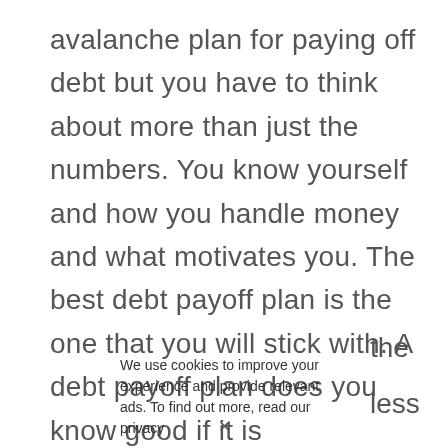avalanche plan for paying off debt but you have to think about more than just the numbers. You know yourself and how you handle money and what motivates you. The best debt payoff plan is the one that you will stick with. A debt payoff plan does you know good if it is mathematically the best choice
the less
he debt
for you –
We use cookies to improve your experience and provide relevant ads. To find out more, read our privacy